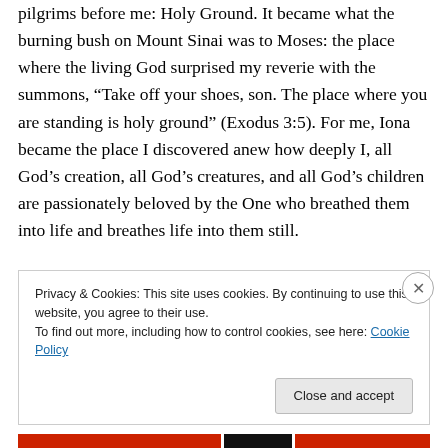pilgrims before me: Holy Ground. It became what the burning bush on Mount Sinai was to Moses: the place where the living God surprised my reverie with the summons, “Take off your shoes, son. The place where you are standing is holy ground” (Exodus 3:5). For me, Iona became the place I discovered anew how deeply I, all God’s creation, all God’s creatures, and all God’s children are passionately beloved by the One who breathed them into life and breathes life into them still.
Little wonder the sky wept with me on that misty morning I boarded a ferry to leave.
Privacy & Cookies: This site uses cookies. By continuing to use this website, you agree to their use.
To find out more, including how to control cookies, see here: Cookie Policy